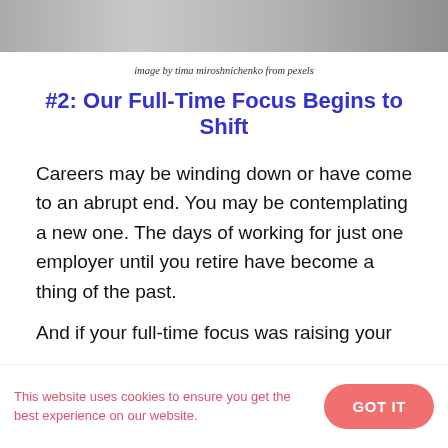[Figure (photo): Top strip of a black and white photo showing people in an office or meeting setting]
image by tima miroshnichenko from pexels
#2: Our Full-Time Focus Begins to Shift
Careers may be winding down or have come to an abrupt end. You may be contemplating a new one. The days of working for just one employer until you retire have become a thing of the past.
And if your full-time focus was raising your
This website uses cookies to ensure you get the best experience on our website.
GOT IT